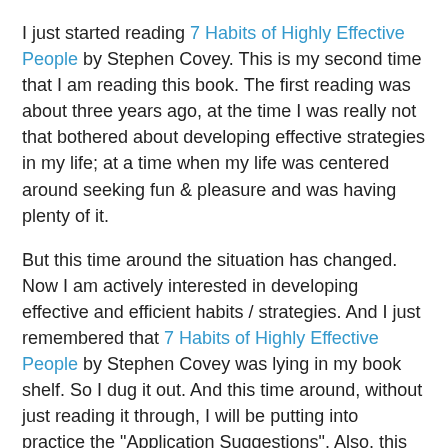I just started reading 7 Habits of Highly Effective People by Stephen Covey. This is my second time that I am reading this book. The first reading was about three years ago, at the time I was really not that bothered about developing effective strategies in my life; at a time when my life was centered around seeking fun & pleasure and was having plenty of it.
But this time around the situation has changed. Now I am actively interested in developing effective and efficient habits / strategies. And I just remembered that 7 Habits of Highly Effective People by Stephen Covey was lying in my book shelf. So I dug it out. And this time around, without just reading it through, I will be putting into practice the "Application Suggestions". Also, this time around, I am determined to delve deeper into the content and ponder and reflect upon myself as I go along. This will help me in internalizing the habits into my life; well not as exactly as they are, but as they appeal and agree with my values. Hopefully, it will help me clarify my values further.
Covey suggests two paradigm shifts that will increase the